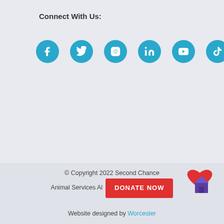Connect With Us:
[Figure (illustration): Six teal circular social media icons: Facebook, Twitter, Instagram, LinkedIn, YouTube, TikTok]
© Copyright 2022 Second Chance Animal Services All [Rights Reserved] | DONATE NOW
Website designed by Worcester
[Figure (illustration): Red heart and purple house logo widget in bottom right corner]